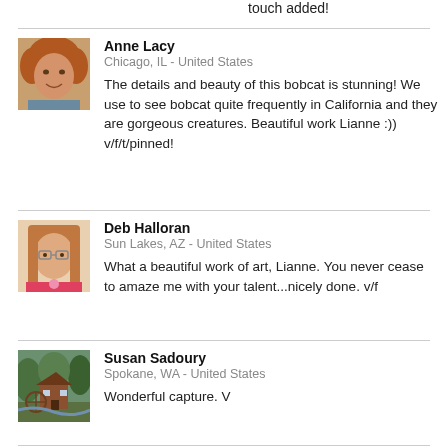touch added!
Anne Lacy
Chicago, IL - United States
The details and beauty of this bobcat is stunning! We use to see bobcat quite frequently in California and they are gorgeous creatures. Beautiful work Lianne :)) v/f/t/pinned!
[Figure (photo): Profile photo of Anne Lacy, a woman with curly reddish hair, smiling]
Deb Halloran
Sun Lakes, AZ - United States
What a beautiful work of art, Lianne. You never cease to amaze me with your talent...nicely done. v/f
[Figure (photo): Profile photo of Deb Halloran, a woman with straight reddish-blonde hair and glasses, holding a flower]
Susan Sadoury
Spokane, WA - United States
Wonderful capture. V
[Figure (photo): Profile image of Susan Sadoury showing a painting of a rustic mill with waterwheel surrounded by trees]